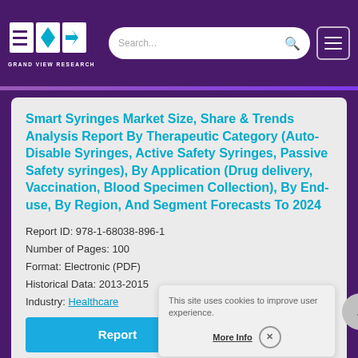[Figure (logo): Grand View Research logo with geometric triangular/arrow shapes and text 'GRAND VIEW RESEARCH']
Smart Syringes Market Size, Share & Trends Analysis Report By Therapeutic Category (Auto-Disable Syringes, Active Safety Syringes, Passive Safety syringes), By Application (Drug delivery, Vaccination, Blood Specimen Collection), By End-use, By Region, And Segment Forecasts To 2024
Report ID: 978-1-68038-896-1
Number of Pages: 100
Format: Electronic (PDF)
Historical Data: 2013-2015
Industry: Healthcare
This site uses cookies to improve user experience.